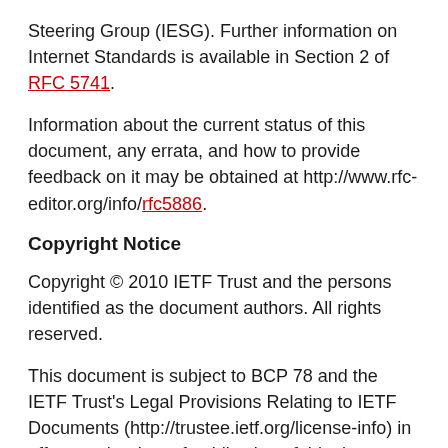Steering Group (IESG). Further information on Internet Standards is available in Section 2 of RFC 5741.
Information about the current status of this document, any errata, and how to provide feedback on it may be obtained at http://www.rfc-editor.org/info/rfc5886.
Copyright Notice
Copyright © 2010 IETF Trust and the persons identified as the document authors. All rights reserved.
This document is subject to BCP 78 and the IETF Trust's Legal Provisions Relating to IETF Documents (http://trustee.ietf.org/license-info) in effect on the date of publication of this document. Please review these documents carefully, as they describe your rights and restrictions with respect to this document. Code Components extracted from this document must include Simplified BSD License text as described in Section 4.e of the Trust Legal Provisions and are provided without